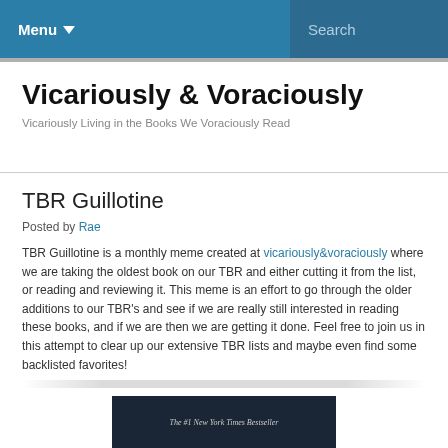Menu ▾   Search
Vicariously & Voraciously
Vicariously Living in the Books We Voraciously Read
TBR Guillotine
Posted by Rae
TBR Guillotine is a monthly meme created at vicariously&voraciously where we are taking the oldest book on our TBR and either cutting it from the list, or reading and reviewing it. This meme is an effort to go through the older additions to our TBR's and see if we are really still interested in reading these books, and if we are then we are getting it done. Feel free to join us in this attempt to clear up our extensive TBR lists and maybe even find some backlisted favorites!
[Figure (photo): Book cover image showing '#1 New York Times Bestseller' text on a dark background]